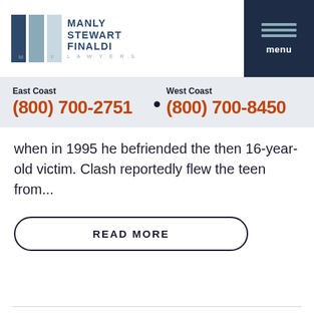[Figure (logo): Manly Stewart Finaldi Lawyers logo with three vertical bars in dark blue, medium blue, and light blue, with the firm name to the right]
[Figure (other): Dark navy hamburger menu button with three horizontal lines and 'menu' text below]
East Coast (800) 700-2751 • West Coast (800) 700-8450
when in 1995 he befriended the then 16-year-old victim. Clash reportedly flew the teen from...
READ MORE